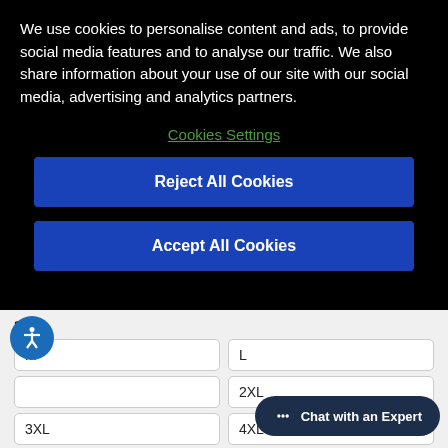We use cookies to personalise content and ads, to provide social media features and to analyse our traffic. We also share information about your use of our site with our social media, advertising and analytics partners.
Cookies Settings
Reject All Cookies
Accept All Cookies
SIZE
M
L
2XL
3XL
4XL
Chat with an Expert